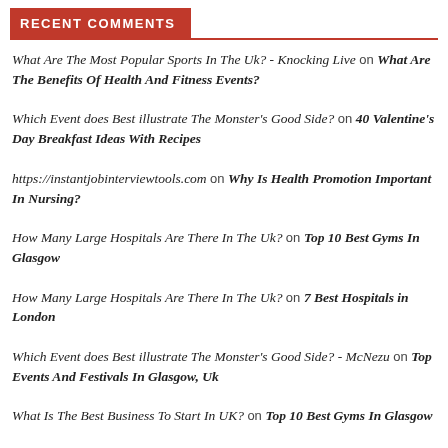RECENT COMMENTS
What Are The Most Popular Sports In The Uk? - Knocking Live on What Are The Benefits Of Health And Fitness Events?
Which Event does Best illustrate The Monster's Good Side? on 40 Valentine's Day Breakfast Ideas With Recipes
https://instantjobinterviewtools.com on Why Is Health Promotion Important In Nursing?
How Many Large Hospitals Are There In The Uk? on Top 10 Best Gyms In Glasgow
How Many Large Hospitals Are There In The Uk? on 7 Best Hospitals in London
Which Event does Best illustrate The Monster's Good Side? - McNezu on Top Events And Festivals In Glasgow, Uk
What Is The Best Business To Start In UK? on Top 10 Best Gyms In Glasgow